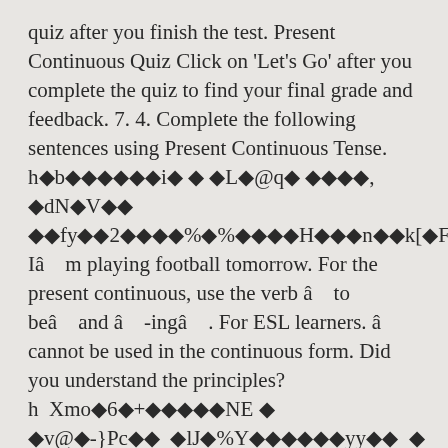quiz after you finish the test. Present Continuous Quiz Click on 'Let's Go' after you complete the quiz to find your final grade and feedback. 7. 4. Complete the following sentences using Present Continuous Tense. h�b������i� Ä �L�@q� ����, �dN�V�� ��fyÕ�2���ŏ%�%�ř��H���n��k[◆Fs10'=�l2�� Iâ    m playing football tomorrow. For the present continuous, use the verb â    to beâ    and â    -ingâ    . For ESL learners. â     cannot be used in the continuous form. Did you understand the principles? h  Xmo�6�+�����NE � �v@�-}Pc��  �lJ�%Y������yy��  � ��ì◆  ����